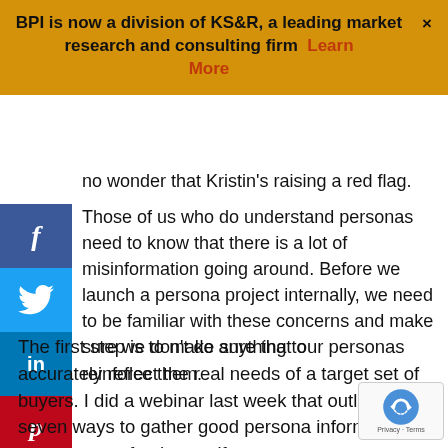BPI is now a division of KS&R, a leading market research and consulting firm   Learn More   ×
no wonder that Kristin's raising a red flag.
[Figure (other): Social media sharing sidebar with Facebook, Twitter, LinkedIn, and Pinterest buttons]
Those of us who do understand personas need to know that there is a lot of misinformation going around. Before we launch a persona project internally, we need to be familiar with these concerns and make sure we don't do anything to reinforce them.
The first step is to make sure that our personas accurately reflect the real needs of a target set of buyers. I did a webinar last week that outlines seven ways to gather good persona information. If you want a refresher, or if you are new to persona development, you can view